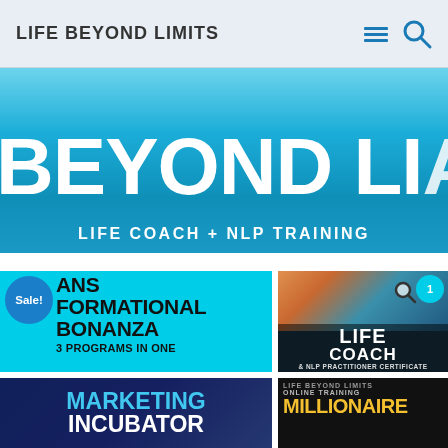LIFE BEYOND LIMITS
[Figure (screenshot): Hero banner with large white text 'BEYOND LI' (partially cropped) on a blue gradient background, subtitle 'LIFE COACH + NLP TRAINING']
[Figure (screenshot): Product card: cyan background with 'Sale!' badge and text 'ANS FORMATIONAL BONANZA 3 PROGRAMS IN ONE']
[Figure (screenshot): Product card: Life Coach & NLP Practitioner Certificate with sunset/beach image]
[Figure (screenshot): Product card: Marketing Incubator with dark blue background]
[Figure (screenshot): Product card: Life Beyond Limits Online Training Millionaire with dark background and gold text]